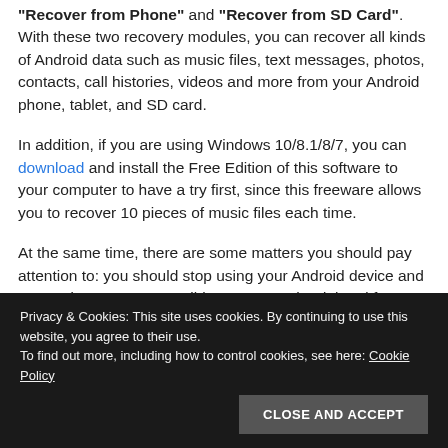"Recover from Phone" and "Recover from SD Card". With these two recovery modules, you can recover all kinds of Android data such as music files, text messages, photos, contacts, call histories, videos and more from your Android phone, tablet, and SD card.
In addition, if you are using Windows 10/8.1/8/7, you can download and install the Free Edition of this software to your computer to have a try first, since this freeware allows you to recover 10 pieces of music files each time.
At the same time, there are some matters you should pay attention to: you should stop using your Android device and SD card as soon as possible to prevent the deleted from being overwritten; you need to root your Android phone or tablet if
Privacy & Cookies: This site uses cookies. By continuing to use this website, you agree to their use.
To find out more, including how to control cookies, see here: Cookie Policy
CLOSE AND ACCEPT